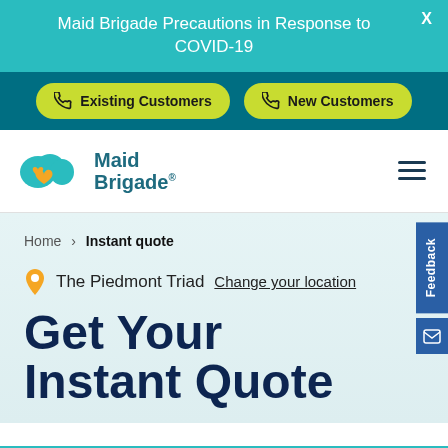Maid Brigade Precautions in Response to COVID-19
[Figure (screenshot): Navigation bar with two yellow-green pill buttons: 'Existing Customers' and 'New Customers' with phone icons, on dark teal background]
[Figure (logo): Maid Brigade logo with teal cloud and orange heart shapes, blue text 'Maid Brigade']
Home > Instant quote
The Piedmont Triad  Change your location
Get Your Instant Quote